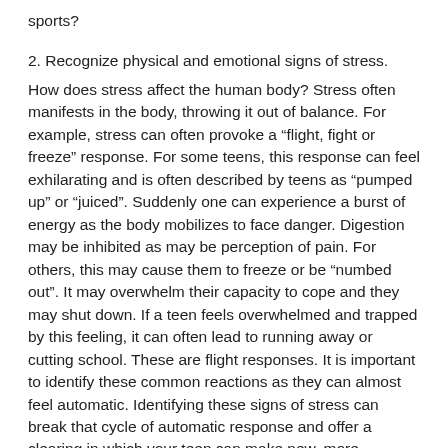sports?
2. Recognize physical and emotional signs of stress.
How does stress affect the human body? Stress often manifests in the body, throwing it out of balance. For example, stress can often provoke a “flight, fight or freeze” response. For some teens, this response can feel exhilarating and is often described by teens as “pumped up” or “juiced”. Suddenly one can experience a burst of energy as the body mobilizes to face danger. Digestion may be inhibited as may be perception of pain. For others, this may cause them to freeze or be “numbed out”. It may overwhelm their capacity to cope and they may shut down. If a teen feels overwhelmed and trapped by this feeling, it can often lead to running away or cutting school. These are flight responses. It is important to identify these common reactions as they can almost feel automatic. Identifying these signs of stress can break that cycle of automatic response and offer a clearing in which your teen can make new, more effective choices.
3. Managing Stress with Healthy Coping Skills:
What are typical ‘red flags’ that you may be stressed? Asking this